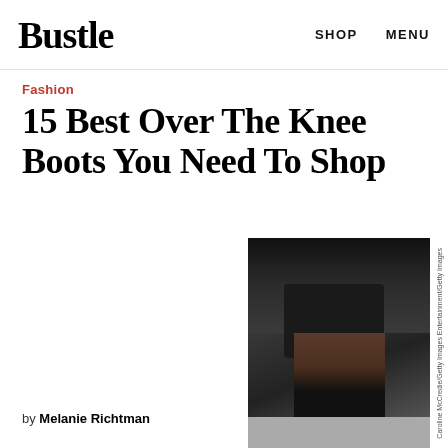Bustle   SHOP   MENU
Fashion
15 Best Over The Knee Boots You Need To Shop
[Figure (photo): Person wearing black over-the-knee boots, black coat and black handbag, photographed from waist down on a city street]
Caroline McCredie/Getty Images Entertainment/Getty Images
by Melanie Richtman